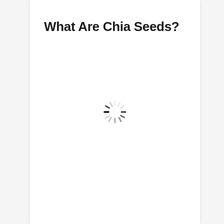What Are Chia Seeds?
[Figure (other): A loading spinner icon (circular dashed spinner) centered in the page, indicating content is loading.]